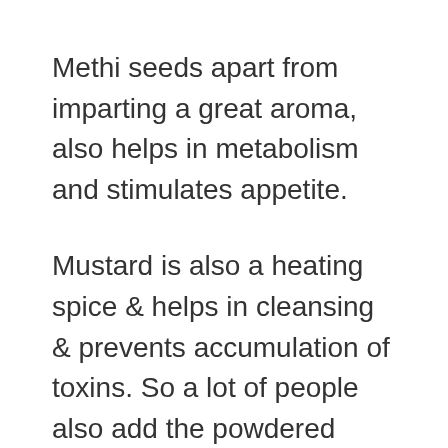Methi seeds apart from imparting a great aroma, also helps in metabolism and stimulates appetite.
Mustard is also a heating spice & helps in cleansing & prevents accumulation of toxins. So a lot of people also add the powdered mustard seeds. When you make the rasam powder mentioned in the recipe, you can dry roast 1/8 teaspoon seeds after roasting cumin. Remember not to use a lot else your rasam can taste bitter.